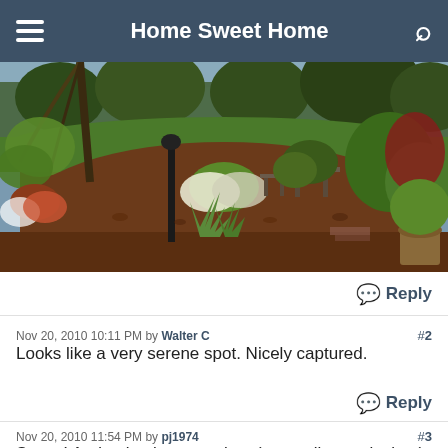Home Sweet Home
[Figure (photo): Garden scene with mulched flower beds, tropical plants, shrubs, a lamp post, patio furniture, green lawn, and a river or lake in the background with trees.]
Reply
Nov 20, 2010 10:11 PM by Walter C  #2
Looks like a very serene spot. Nicely captured.
Reply
Nov 20, 2010 11:54 PM by pj1974  #3
Sweet! And to back onto a river (or smaller equivalent) too -